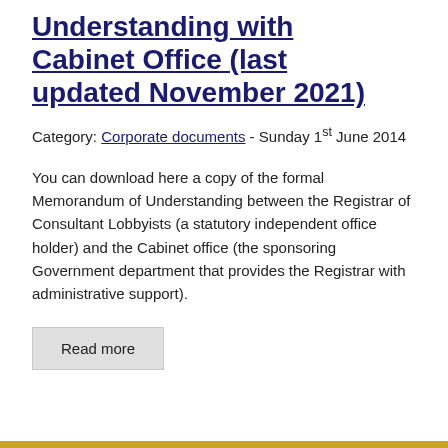Understanding with Cabinet Office (last updated November 2021)
Category: Corporate documents - Sunday 1st June 2014
You can download here a copy of the formal Memorandum of Understanding between the Registrar of Consultant Lobbyists (a statutory independent office holder) and the Cabinet office (the sponsoring Government department that provides the Registrar with administrative support).
Read more